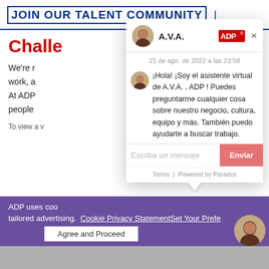[Figure (screenshot): ADP website screenshot showing 'JOIN OUR TALENT COMMUNITY' header with a chat widget overlay (A.V.A. virtual assistant from ADP) in Spanish, and a purple cookie consent banner at the bottom.]
JOIN OUR TALENT COMMUNITY
Challe
We're r work, a At ADP people
To view a v
A.V.A.
21 de ago. de 2022 a las 23:58
¡Hola! ¡Soy el asistente virtual de A.V.A. , ADP ! Puedes preguntarme cualquier cosa sobre nuestro negocio, cultura, equipo y más. También puedo ayudarte a buscar trabajo.
Escriba un mensaje
Enviar
Terms | Powered by Paradox
ADP uses coo tailored advertising. Cookie Privacy Statement Set Your Preferences
Agree and Proceed